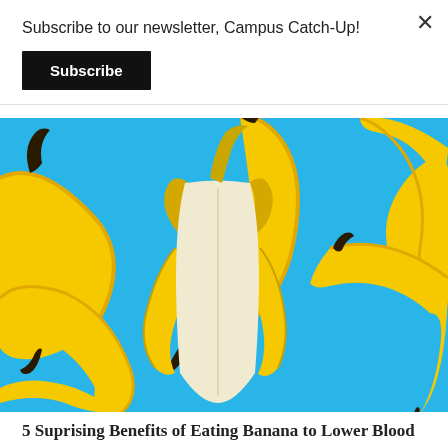Subscribe to our newsletter, Campus Catch-Up!
Subscribe
[Figure (photo): Multiple yellow bananas scattered on a bright blue background, with one banana partially peeled in the center.]
5 Suprising Benefits of Eating Banana to Lower Blood